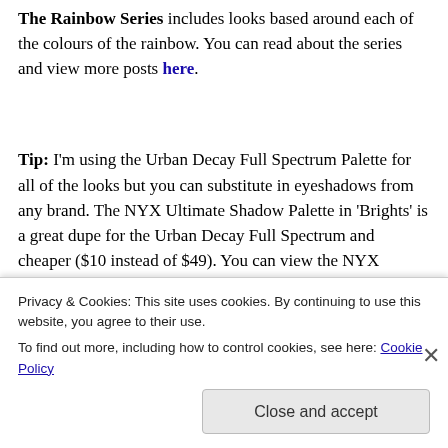The Rainbow Series includes looks based around each of the colours of the rainbow. You can read about the series and view more posts here.
Tip: I'm using the Urban Decay Full Spectrum Palette for all of the looks but you can substitute in eyeshadows from any brand. The NYX Ultimate Shadow Palette in 'Brights' is a great dupe for the Urban Decay Full Spectrum and cheaper ($10 instead of $49). You can view the NYX...
Privacy & Cookies: This site uses cookies. By continuing to use this website, you agree to their use. To find out more, including how to control cookies, see here: Cookie Policy